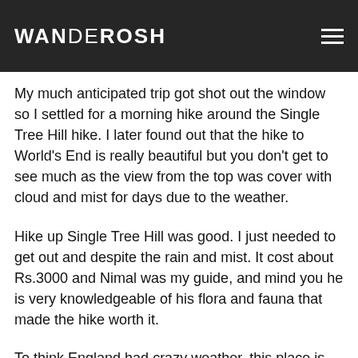WANDEROSH
My much anticipated trip got shot out the window so I settled for a morning hike around the Single Tree Hill hike. I later found out that the hike to World's End is really beautiful but you don't get to see much as the view from the top was cover with cloud and mist for days due to the weather.
Hike up Single Tree Hill was good. I just needed to get out and despite the rain and mist. It cost about Rs.3000 and Nimal was my guide, and mind you he is very knowledgeable of his flora and fauna that made the hike worth it.
To think England had crazy weather, this place is just absurd! It's sunny one minute, 5 minutes later it rains, 10 minutes later the sun is out again and out of nowhere